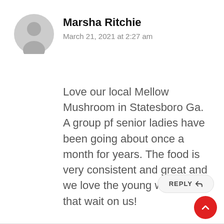[Figure (illustration): Gray circular user avatar icon with silhouette of person]
Marsha Ritchie
March 21, 2021 at 2:27 am
Love our local Mellow Mushroom in Statesboro Ga. A group pf senior ladies have been going about once a month for years. The food is very consistent and great and we love the young waitresses that wait on us!